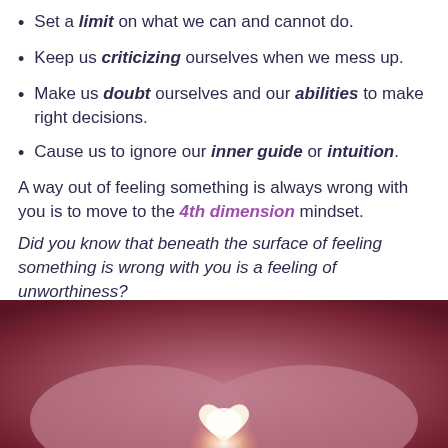Set a limit on what we can and cannot do.
Keep us criticizing ourselves when we mess up.
Make us doubt ourselves and our abilities to make right decisions.
Cause us to ignore our inner guide or intuition.
A way out of feeling something is always wrong with you is to move to the 4th dimension mindset.
Did you know that beneath the surface of feeling something is wrong with you is a feeling of unworthiness?
[Figure (photo): Hands forming a heart shape with a glowing light emanating from between them, against a warm pink/red background]